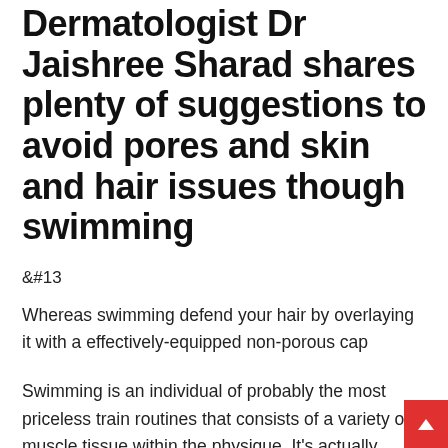Dermatologist Dr Jaishree Sharad shares plenty of suggestions to avoid pores and skin and hair issues though swimming
&#13;
Whereas swimming defend your hair by overlaying it with a effectively-equipped non-porous cap
Swimming is an individual of probably the most priceless train routines that consists of a variety of muscle tissue within the physique. It's actually additionally savored by a number of for the explanation that there's a entertaining ingredient related with the athletics. So, you get well being and health added advantages via train in and the same old enjoyable, healthful, and